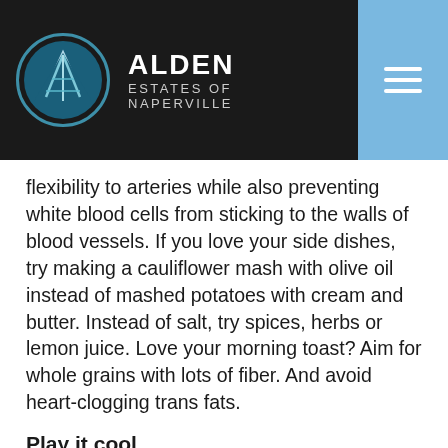[Figure (logo): Alden Estates of Naperville logo with circular teal icon and white text on dark background, with blue hamburger menu button]
flexibility to arteries while also preventing white blood cells from sticking to the walls of blood vessels. If you love your side dishes, try making a cauliflower mash with olive oil instead of mashed potatoes with cream and butter. Instead of salt, try spices, herbs or lemon juice. Love your morning toast? Aim for whole grains with lots of fiber. And avoid heart-clogging trans fats.
Play it cool
Unsurprisingly, stress can be a major player in your heart health. Think about it like rush hour traffic in your body. Stress increases your blood pressure (a lot of people trying to